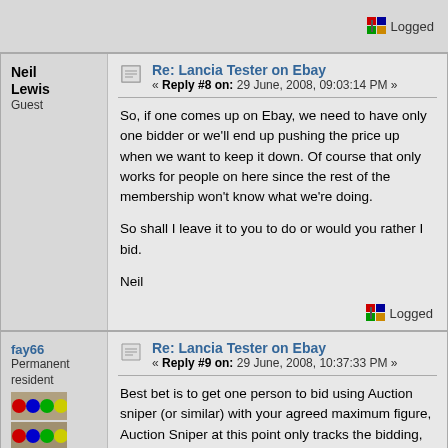Logged
Neil Lewis
Guest
Re: Lancia Tester on Ebay
« Reply #8 on: 29 June, 2008, 09:03:14 PM »
So, if one comes up on Ebay, we need to have only one bidder or we'll end up pushing the price up when we want to keep it down.  Of course that only works for people on here since the rest of the membership won't know what we're doing.

So shall I leave it to you to do or would you rather I bid.

Neil
Logged
fay66
Permanent resident
Posts: 6068
Re: Lancia Tester on Ebay
« Reply #9 on: 29 June, 2008, 10:37:33 PM »
Best bet is to get one person to bid using Auction sniper (or similar) with your agreed maximum figure, Auction Sniper at this point only tracks the bidding, this way no one knows your even interested & will put in a bid just enough to beat the previous bid in the last 5 seconds, & there's always a good chance